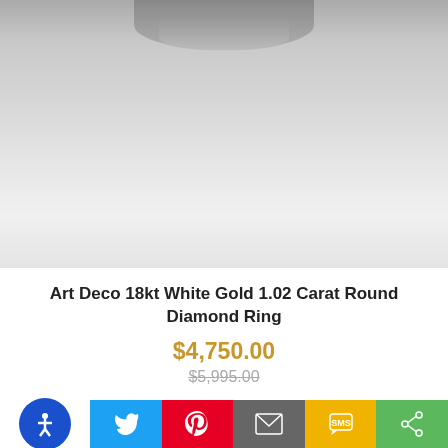[Figure (photo): Top portion of a white gold diamond ring on a light gray background, showing the upper part of the ring setting]
Art Deco 18kt White Gold 1.02 Carat Round Diamond Ring
$4,750.00
$5,995.00
[Figure (photo): Bottom portion of product listing showing gold jewelry rings on a light gray background]
[Figure (screenshot): Social sharing toolbar at the bottom with accessibility button, Twitter, Pinterest, email, SMS, and share icons]